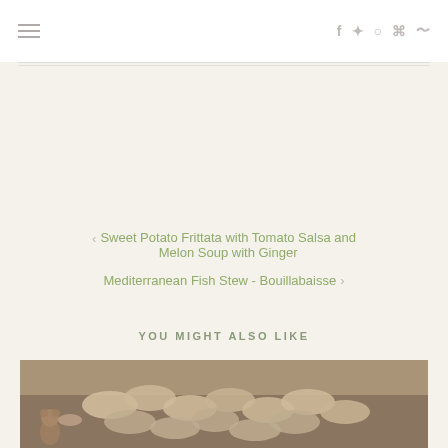≡  f  𝕏  ☷  𝒫  ⊗
‹ Sweet Potato Frittata with Tomato Salsa and Melon Soup with Ginger
Mediterranean Fish Stew - Bouillabaisse ›
YOU MIGHT ALSO LIKE
[Figure (photo): Photo of pasta or bread rolls with a small decorative bear figurine in a dark bowl or container]